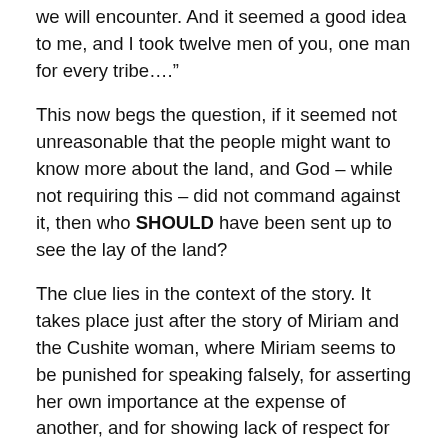we will encounter. And it seemed a good idea to me, and I took twelve men of you, one man for every tribe…."
This now begs the question, if it seemed not unreasonable that the people might want to know more about the land, and God – while not requiring this – did not command against it, then who SHOULD have been sent up to see the lay of the land?
The clue lies in the context of the story. It takes place just after the story of Miriam and the Cushite woman, where Miriam seems to be punished for speaking falsely, for asserting her own importance at the expense of another, and for showing lack of respect for others. A lesson needs to be learned, the question is – who has learned it?
Fantastically Rabbi Shlomo Ephraim ben Aaron Luntschitz. (1550 – 1619) the scholar and poet and writer